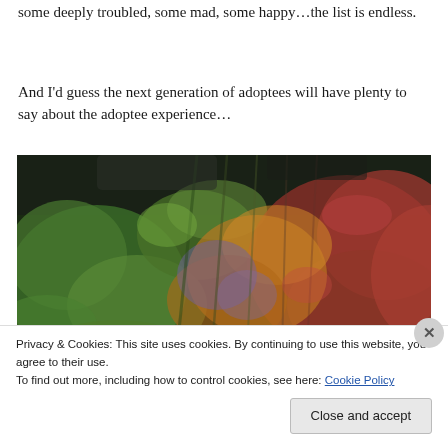some deeply troubled, some mad, some happy…the list is endless.
And I'd guess the next generation of adoptees will have plenty to say about the adoptee experience…
[Figure (photo): Aerial or close-up photograph of lush, colorful foliage — green, red, orange, and purple autumn leaves and plants viewed from above, with some rocky dark background visible.]
Privacy & Cookies: This site uses cookies. By continuing to use this website, you agree to their use.
To find out more, including how to control cookies, see here: Cookie Policy
Close and accept